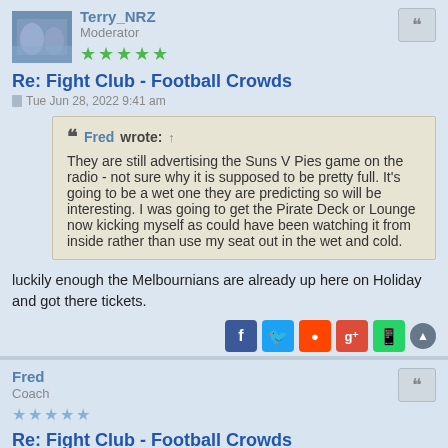Moderator
Re: Fight Club - Football Crowds
Tue Jun 28, 2022 9:41 am
Fred wrote: ↑
They are still advertising the Suns V Pies game on the radio - not sure why it is supposed to be pretty full. It's going to be a wet one they are predicting so will be interesting. I was going to get the Pirate Deck or Lounge now kicking myself as could have been watching it from inside rather than use my seat out in the wet and cold.
luckily enough the Melbournians are already up here on Holiday and got there tickets.
Fred
Coach
Re: Fight Club - Football Crowds
Tue Jun 28, 2022 9:57 am
Yeah for sure. Good for tourism - plus plenty of Pies supporters on the